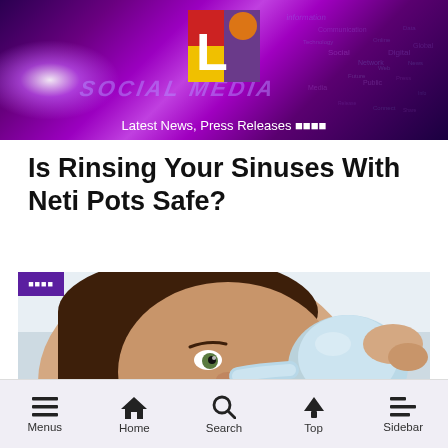[Figure (illustration): Website header banner with purple/violet gradient background, glowing light effect on left, digital word cloud on right with tech/social media terms, and a logo (red/yellow/purple square with white L) centered at top]
Latest News, Press Releases 📰📰📰
Is Rinsing Your Sinuses With Neti Pots Safe?
[Figure (photo): Close-up photo of a woman using a neti pot to rinse her sinuses, holding a light blue neti pot up to her nose, looking sideways at the camera]
Menus | Home | Search | Top | Sidebar